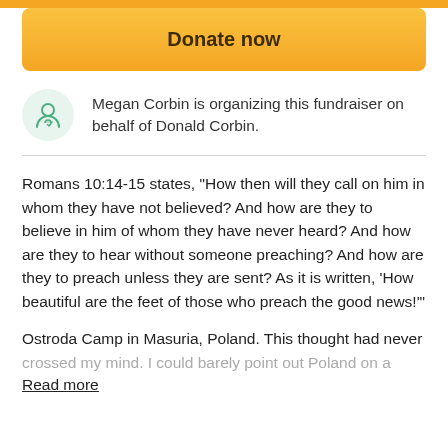[Figure (other): Orange gradient top bar strip]
[Figure (other): Orange 'Donate now' button with rounded corners]
Megan Corbin is organizing this fundraiser on behalf of Donald Corbin.
Romans 10:14-15 states, “How then will they call on him in whom they have not believed? And how are they to believe in him of whom they have never heard? And how are they to hear without someone preaching? And how are they to preach unless they are sent? As it is written, ‘How beautiful are the feet of those who preach the good news!’”
Ostroda Camp in Masuria, Poland. This thought had never crossed my mind. I could barely point out Poland on a
Read more